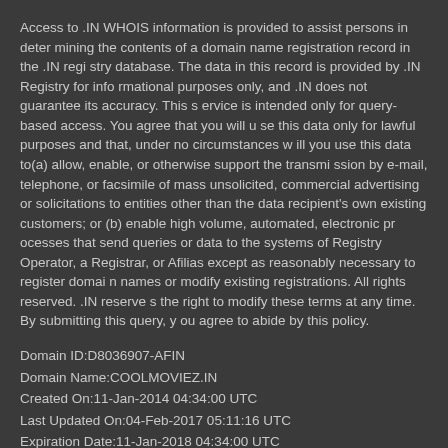Access to .IN WHOIS information is provided to assist persons in determining the contents of a domain name registration record in the .IN registry database. The data in this record is provided by .IN Registry for informational purposes only, and .IN does not guarantee its accuracy. This service is intended only for query-based access. You agree that you will use this data only for lawful purposes and that, under no circumstances will you use this data to(a) allow, enable, or otherwise support the transmission by e-mail, telephone, or facsimile of mass unsolicited, commercial advertising or solicitations to entities other than the data recipient's own existing customers; or (b) enable high volume, automated, electronic processes that send queries or data to the systems of Registry Operator, a Registrar, or Afilias except as reasonably necessary to register domain names or modify existing registrations. All rights reserved. .IN reserves the right to modify these terms at any time. By submitting this query, you agree to abide by this policy.
Domain ID:D8036907-AFIN
Domain Name:COOLMOVIEZ.IN
Created On:11-Jan-2014 04:34:00 UTC
Last Updated On:04-Feb-2017 05:11:16 UTC
Expiration Date:11-Jan-2018 04:34:00 UTC
Sponsoring Registrar:Crazy Domains FZ-LLC (R160-AFIN)
Status:CLIENT TRANSFER PROHIBITED
Reason:
Status:AUTORENEWPERIOD
Registrant ID:R-016511703-SN
Registrant Name:Rohit Sarma
Registrant Organization:
Registrant Street1:Realtime Register India Pvt Ltd #24 Comfort Towers